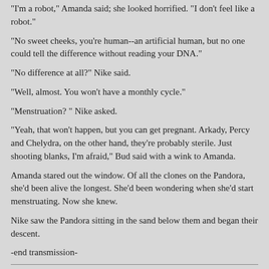"I'm a robot," Amanda said; she looked horrified. "I don't feel like a robot."
"No sweet cheeks, you're human--an artificial human, but no one could tell the difference without reading your DNA."
"No difference at all?" Nike said.
"Well, almost. You won't have a monthly cycle."
"Menstruation? " Nike asked.
"Yeah, that won't happen, but you can get pregnant. Arkady, Percy and Chelydra, on the other hand, they're probably sterile. Just shooting blanks, I'm afraid," Bud said with a wink to Amanda.
Amanda stared out the window. Of all the clones on the Pandora, she'd been alive the longest. She'd been wondering when she'd start menstruating. Now she knew.
Nike saw the Pandora sitting in the sand below them and began their descent.
-end transmission-